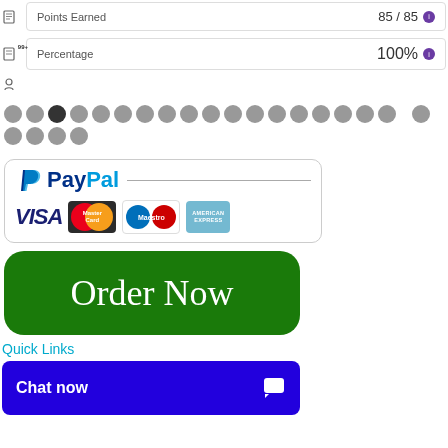Points Earned   85 / 85
Percentage   100%
[Figure (screenshot): Row of grey and dark dots, pagination indicator]
[Figure (logo): PayPal logo with Visa, MasterCard, Maestro, American Express payment icons in a rounded border box]
[Figure (other): Green rounded button with white handwritten text 'Order Now']
Quick Links
[Figure (screenshot): Blue 'Chat now' button with chat icon]